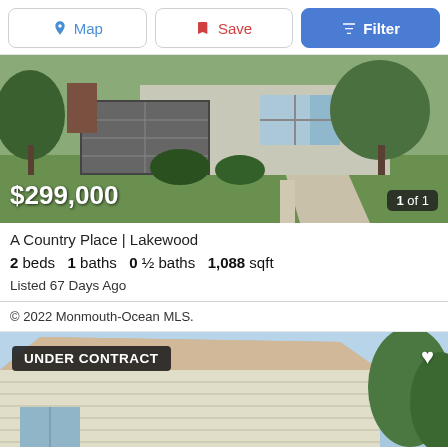Map | Save | Filter
[Figure (photo): Exterior photo of a single-story house with attached garage, green lawn, and trees. Price overlay: $299,000. Photo counter: 1 of 1.]
A Country Place | Lakewood
2 beds  1 baths  0 ½ baths  1,088 sqft
Listed 67 Days Ago
© 2022 Monmouth-Ocean MLS.
[Figure (photo): Exterior photo of a house roofline with white vinyl siding and blue sky. UNDER CONTRACT badge overlay. Heart/save icon in top right.]